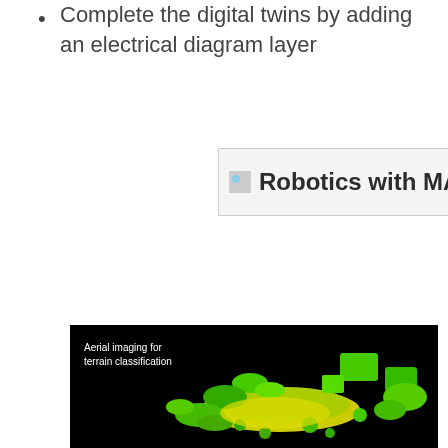Complete the digital twins by adding an electrical diagram layer
[Figure (logo): Robotics with MATLAB logo placeholder image]
[Figure (photo): Aerial imaging for terrain classification — point cloud or aerial imagery showing green and yellow colored objects (buildings/terrain) on a black background]